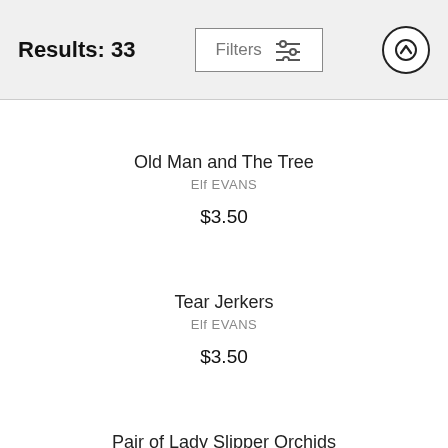Results: 33
Old Man and The Tree
Elf EVANS
$3.50
Tear Jerkers
Elf EVANS
$3.50
Pair of Lady Slipper Orchids